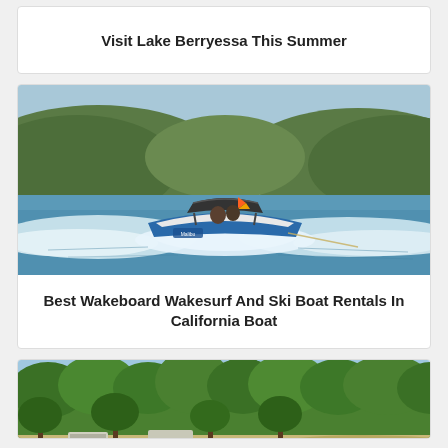Visit Lake Berryessa This Summer
[Figure (photo): Speedboat with wakeboard wake on a lake with wooded hills in background]
Best Wakeboard Wakesurf And Ski Boat Rentals In California Boat
[Figure (photo): Aerial view of a lakeside campground with trees, RVs, and a sandy beach with blue water]